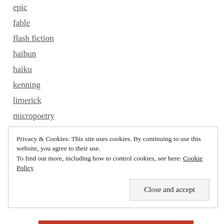epic
fable
flash fiction
haibun
haiku
kenning
limerick
micropoetry
MyNewShy
nonet
palindrome
parody
poem
Privacy & Cookies: This site uses cookies. By continuing to use this website, you agree to their use. To find out more, including how to control cookies, see here: Cookie Policy
Close and accept